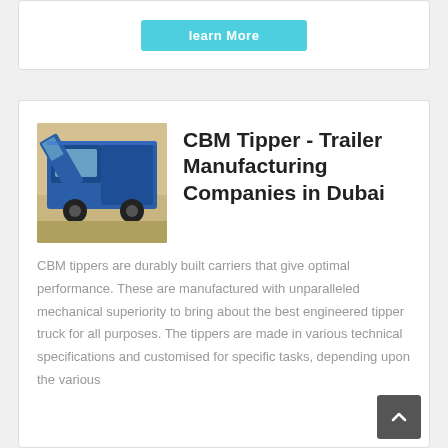[Figure (other): Cyan/teal 'learn More' button at the top of the page]
[Figure (photo): Photo of a blue tipper truck with open cab door, parked outdoors]
CBM Tipper - Trailer Manufacturing Companies in Dubai
CBM tippers are durably built carriers that give optimal performance. These are manufactured with unparalleled mechanical superiority to bring about the best engineered tipper truck for all purposes. The tippers are made in various technical specifications and customised for specific tasks, depending upon the various